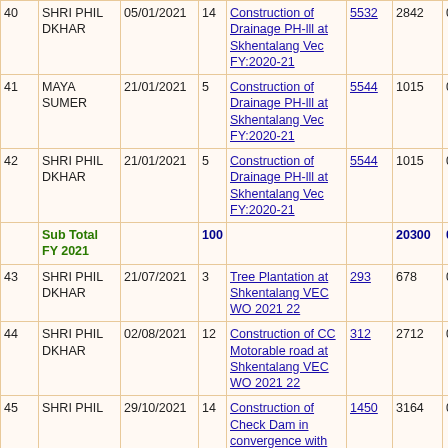| # | Name | Date | Days | Work | MB No | Amount | Deduction |
| --- | --- | --- | --- | --- | --- | --- | --- |
| 40 | SHRI PHIL DKHAR | 05/01/2021 | 14 | Construction of Drainage PH-lll at Skhentalang Vec FY:2020-21 | 5532 | 2842 | 0 |
| 41 | MAYA SUMER | 21/01/2021 | 5 | Construction of Drainage PH-lll at Skhentalang Vec FY:2020-21 | 5544 | 1015 | 0 |
| 42 | SHRI PHIL DKHAR | 21/01/2021 | 5 | Construction of Drainage PH-lll at Skhentalang Vec FY:2020-21 | 5544 | 1015 | 0 |
|  | Sub Total FY 2021 |  | 100 |  |  | 20300 | 0 |
| 43 | SHRI PHIL DKHAR | 21/07/2021 | 3 | Tree Plantation at Shkentalang VEC WO 2021 22 | 293 | 678 | 0 |
| 44 | SHRI PHIL DKHAR | 02/08/2021 | 12 | Construction of CC Motorable road at Shkentalang VEC WO 2021 22 | 312 | 2712 | 0 |
| 45 | SHRI PHIL | 29/10/2021 | 14 | Construction of Check Dam in convergence with MBDA at | 1450 | 3164 | 0 |